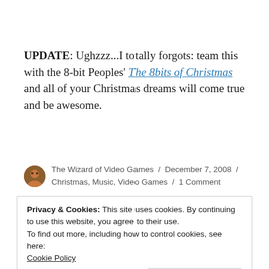UPDATE: Ughzzz...I totally forgots: team this with the 8-bit Peoples' The 8bits of Christmas and all of your Christmas dreams will come true and be awesome.
The Wizard of Video Games / December 7, 2008 / Christmas, Music, Video Games / 1 Comment
Privacy & Cookies: This site uses cookies. By continuing to use this website, you agree to their use.
To find out more, including how to control cookies, see here:
Cookie Policy
Close and accept